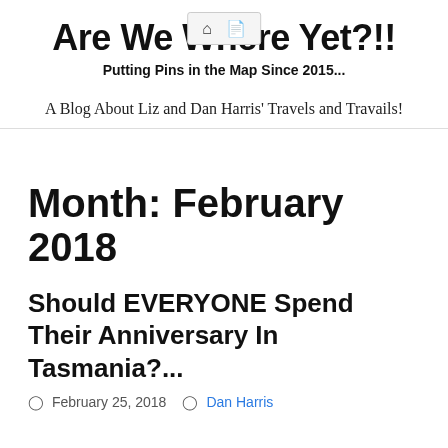Are We Where Yet?!!
Putting Pins in the Map Since 2015...
A Blog About Liz and Dan Harris' Travels and Travails!
Month: February 2018
Should EVERYONE Spend Their Anniversary In Tasmania?...
February 25, 2018   Dan Harris